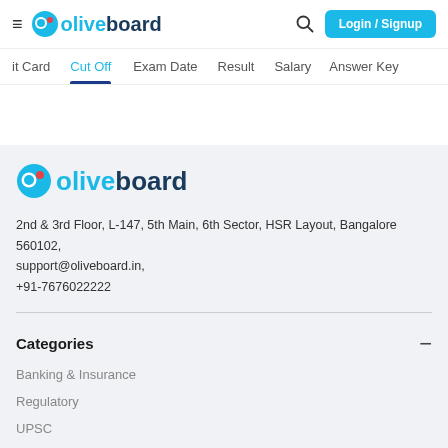≡ oliveboard  🔍  Login / Signup
it Card  Cut Off  Exam Date  Result  Salary  Answer Key
[Figure (logo): Oliveboard logo with blue sphere and blue/dark text]
2nd & 3rd Floor, L-147, 5th Main, 6th Sector, HSR Layout, Bangalore 560102, support@oliveboard.in, +91-7676022222
Categories
Banking & Insurance
Regulatory
UPSC
MBA Exams